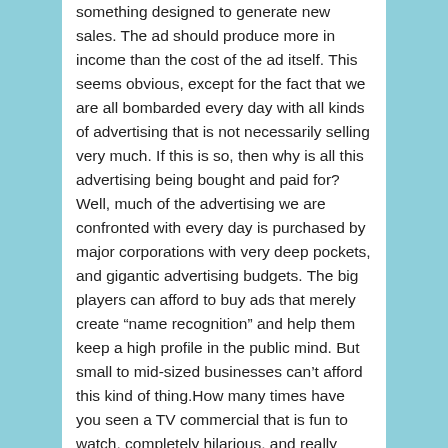something designed to generate new sales. The ad should produce more in income than the cost of the ad itself. This seems obvious, except for the fact that we are all bombarded every day with all kinds of advertising that is not necessarily selling very much. If this is so, then why is all this advertising being bought and paid for?Well, much of the advertising we are confronted with every day is purchased by major corporations with very deep pockets, and gigantic advertising budgets. The big players can afford to buy ads that merely create “name recognition” and help them keep a high profile in the public mind. But small to mid-sized businesses can’t afford this kind of thing.How many times have you seen a TV commercial that is fun to watch, completely hilarious, and really gives you a good laugh — but leaves you with no idea whatsoever about what is being advertised? We all see dozens of these ads every year. They’re fun and entertaining, but they don’t sell much. So why do people buy pay for ads like these? Again, such ads are usually the venue of major players with more money than brains, and who are also willing to take big risks in the advertising game. But the vast majority — perhaps 99% — of